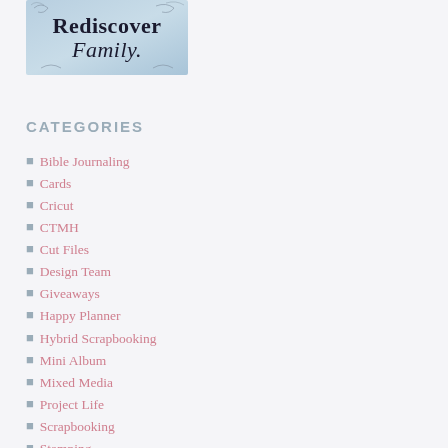[Figure (logo): Rediscover Family logo with decorative calligraphy text on light blue background]
CATEGORIES
Bible Journaling
Cards
Cricut
CTMH
Cut Files
Design Team
Giveaways
Happy Planner
Hybrid Scrapbooking
Mini Album
Mixed Media
Project Life
Scrapbooking
Stamping
Uncategorized